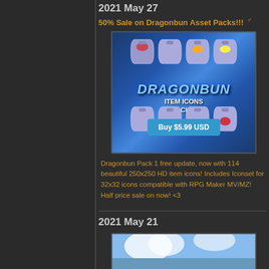2021 May 27
50% Sale on Dragonbun Asset Packs!!!
[Figure (illustration): Dragonbun Item Icons Pack 1 product image showing potion bottle icons on a blue background with a 'Buy $5.99 USD' button overlay]
Dragonbun Pack 1 free update, now with 114 beautiful 250x250 HD item icons! Includes Iconset for 32x32 icons compatible with RPG Maker MV/MZ! Half price sale on now! <3
2021 May 21
[Figure (illustration): Partial view of a game scene with blue sky and clouds]